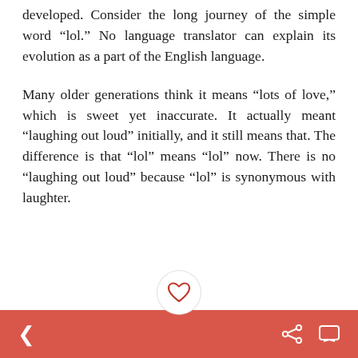developed. Consider the long journey of the simple word “lol.” No language translator can explain its evolution as a part of the English language.
Many older generations think it means “lots of love,” which is sweet yet inaccurate. It actually meant “laughing out loud” initially, and it still means that. The difference is that “lol” means “lol” now. There is no “laughing out loud” because “lol” is synonymous with laughter.
[Figure (illustration): Heart/bookmark icon in a circular button above the navigation bar]
Navigation bar with back arrow, share icon, and comment icon on red background